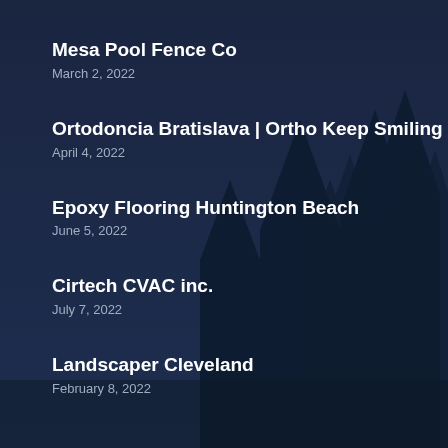[Figure (illustration): Dark navy blue background with silhouettes of pine/fir trees in a darker shade, creating a forest night scene]
Mesa Pool Fence Co
March 2, 2022
Ortodoncia Bratislava | Ortho Keep Smiling
April 4, 2022
Epoxy Flooring Huntington Beach
June 5, 2022
Cirtech CVAC inc.
July 7, 2022
Landscaper Cleveland
February 8, 2022